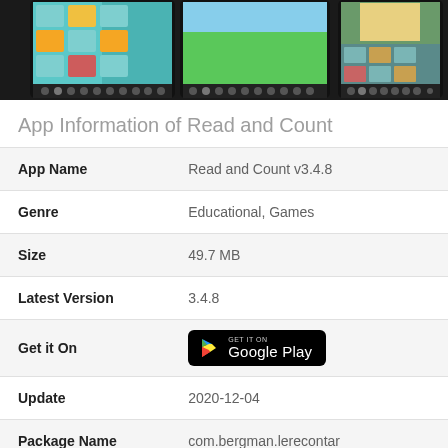[Figure (screenshot): Three tablet/phone screenshots of the Read and Count educational app showing colorful grids with cartoon characters and animals]
App Information of Read and Count
| Field | Value |
| --- | --- |
| App Name | Read and Count v3.4.8 |
| Genre | Educational, Games |
| Size | 49.7 MB |
| Latest Version | 3.4.8 |
| Get it On | [Google Play button] |
| Update | 2020-12-04 |
| Package Name | com.bergman.lerecontar |